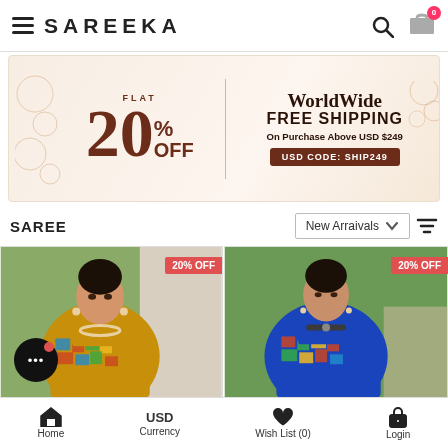SAREEKA — navigation header with hamburger menu, brand name, search and cart icons
[Figure (infographic): Promotional banner: FLAT 20% OFF on left side, WorldWide FREE SHIPPING On Purchase Above USD $249 with code USD CODE: SHIP249 on right side]
SAREE
New Arraivals sort dropdown with filter icon
[Figure (photo): Woman wearing mustard/golden saree with colorful print, 20% OFF badge]
[Figure (photo): Woman wearing blue saree with colorful print, 20% OFF badge]
Home | USD Currency | Wish List (0) | Login